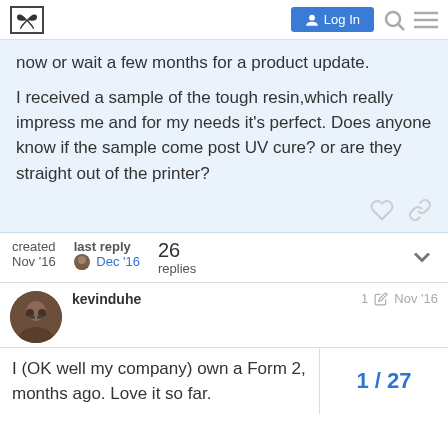Log In [navigation bar with logo, login button, search and menu icons]
now or wait a few months for a product update.

I received a sample of the tough resin,which really impress me and for my needs it's perfect. Does anyone know if the sample come post UV cure? or are they straight out of the printer?
| created | last reply | 26 replies |
| --- | --- | --- |
| Nov '16 | Dec '16 |  |
kevinduhe  1 ✏  Nov '16
I (OK well my company) own a Form 2,
months ago. Love it so far.
1 / 27